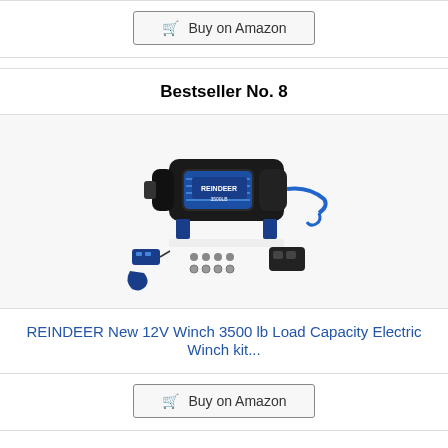Buy on Amazon
Bestseller No. 8
[Figure (photo): REINDEER 12V Electric Winch 3500 lb product photo showing the winch unit with blue synthetic rope, mounting hardware, remote control, and accessories on a white background.]
REINDEER New 12V Winch 3500 lb Load Capacity Electric Winch kit...
Buy on Amazon